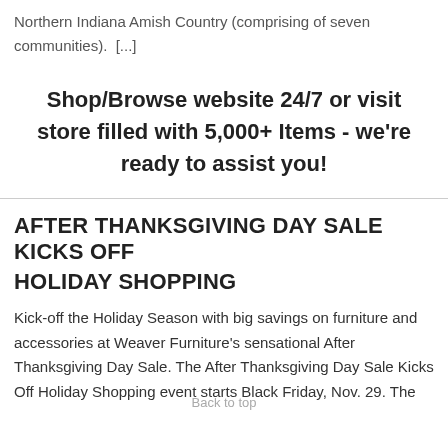Northern Indiana Amish Country (comprising of seven communities).  [...]
Shop/Browse website 24/7 or visit store filled with 5,000+ Items - we're ready to assist you!
AFTER THANKSGIVING DAY SALE KICKS OFF
HOLIDAY SHOPPING
Kick-off the Holiday Season with big savings on furniture and accessories at Weaver Furniture's sensational After Thanksgiving Day Sale. The After Thanksgiving Day Sale Kicks Off Holiday Shopping event starts Black Friday, Nov. 29. The
Back to top